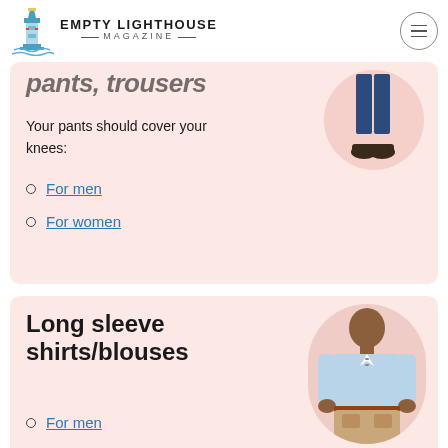EMPTY LIGHTHOUSE MAGAZINE
pants, trousers
Your pants should cover your knees:
For men
For women
[Figure (photo): Lower half of a person wearing navy trousers and dark shoes]
Long sleeve shirts/blouses
For men
For women
[Figure (photo): Man wearing a light blue long sleeve button-up shirt with khaki shorts]